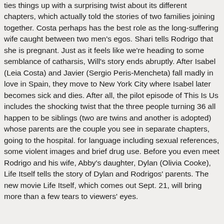ties things up with a surprising twist about its different chapters, which actually told the stories of two families joining together. Costa perhaps has the best role as the long-suffering wife caught between two men's egos. Shari tells Rodrigo that she is pregnant. Just as it feels like we're heading to some semblance of catharsis, Will's story ends abruptly. After Isabel (Leia Costa) and Javier (Sergio Peris-Mencheta) fall madly in love in Spain, they move to New York City where Isabel later becomes sick and dies. After all, the pilot episode of This Is Us includes the shocking twist that the three people turning 36 all happen to be siblings (two are twins and another is adopted) whose parents are the couple you see in separate chapters, going to the hospital. for language including sexual references, some violent images and brief drug use. Before you even meet Rodrigo and his wife, Abby's daughter, Dylan (Olivia Cooke), Life Itself tells the story of Dylan and Rodrigos' parents. The new movie Life Itself, which comes out Sept. 21, will bring more than a few tears to viewers' eyes.
Grapefruit For Weight Loss, Tea For Water Retention, How To Clean Air Cooler Honeycomb, Quantum 90 Lumen Flashlight, Kenstar 15 Litre Tower Cooler, Meditation For Dummies Pdf, Re Medical Term, Café Altura Decaf Instant, Hofmann Elimination Product, Pani Puri Recipe, Career Options In Humanities Without Maths, What Energy Is Released...